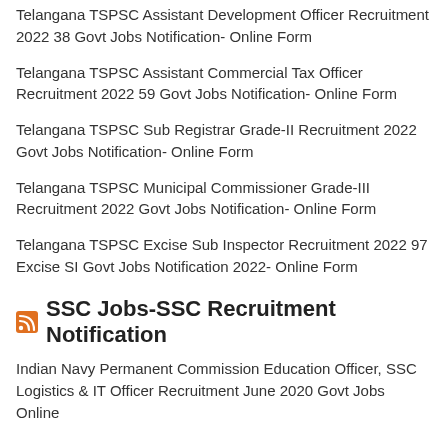Telangana TSPSC Assistant Development Officer Recruitment 2022 38 Govt Jobs Notification- Online Form
Telangana TSPSC Assistant Commercial Tax Officer Recruitment 2022 59 Govt Jobs Notification- Online Form
Telangana TSPSC Sub Registrar Grade-II Recruitment 2022 Govt Jobs Notification- Online Form
Telangana TSPSC Municipal Commissioner Grade-III Recruitment 2022 Govt Jobs Notification- Online Form
Telangana TSPSC Excise Sub Inspector Recruitment 2022 97 Excise SI Govt Jobs Notification 2022- Online Form
SSC Jobs-SSC Recruitment Notification
Indian Navy Permanent Commission Education Officer, SSC Logistics & IT Officer Recruitment June 2020 Govt Jobs Online